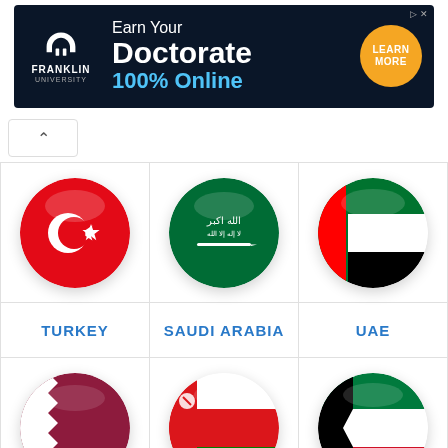[Figure (infographic): Advertisement banner for Franklin University: Earn Your Doctorate 100% Online with Learn More button]
[Figure (infographic): Grid of country flags (circular icons) with labels: Turkey (red with crescent and star), Saudi Arabia (green with sword and text), UAE (red/white/black/green), Qatar (maroon with serrated edge), Oman (red/white/green with khanjar), Kuwait (black/white/green/red)]
TURKEY
SAUDI ARABIA
UAE